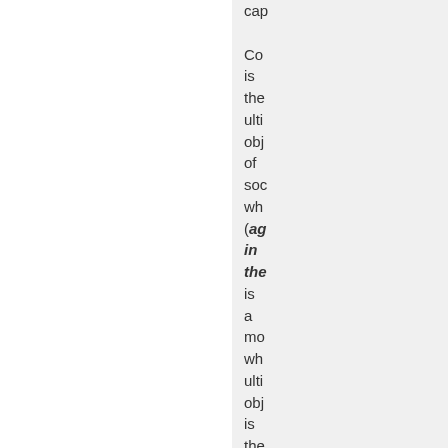cap Co is the ulti obj of soc wh (ag in the is a mo wh ulti obj is the cre of a cla